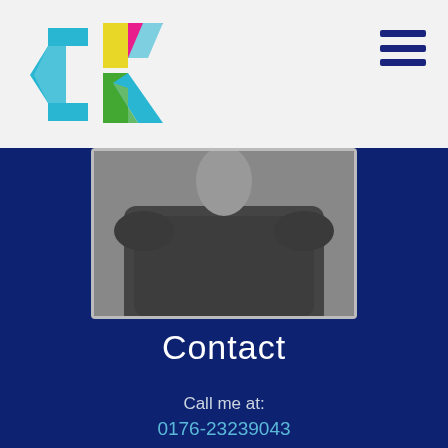[Figure (logo): CK colorful logo with geometric letter shapes]
[Figure (photo): Person wearing dark grey top, photo cropped at shoulders/chest, shown in framed box on dark blue background]
Contact
Call me at:
0176-23239043
Send me an e-mail:
mail@christiane-kasack.de